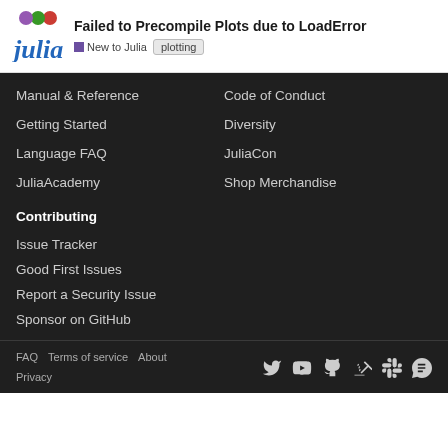Failed to Precompile Plots due to LoadError
Manual & Reference
Code of Conduct
Getting Started
Diversity
Language FAQ
JuliaCon
JuliaAcademy
Shop Merchandise
Contributing
Issue Tracker
Good First Issues
Report a Security Issue
Sponsor on GitHub
FAQ  Terms of service  About  Privacy